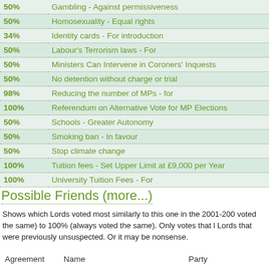| Agreement | Policy |
| --- | --- |
| 50% | Gambling - Against permissiveness |
| 50% | Homosexuality - Equal rights |
| 34% | Identity cards - For introduction |
| 50% | Labour's Terrorism laws - For |
| 50% | Ministers Can Intervene in Coroners' Inquests |
| 50% | No detention without charge or trial |
| 98% | Reducing the number of MPs - for |
| 100% | Referendum on Alternative Vote for MP Elections |
| 50% | Schools - Greater Autonomy |
| 50% | Smoking ban - In favour |
| 50% | Stop climate change |
| 100% | Tuition fees - Set Upper Limit at £9,000 per Year |
| 100% | University Tuition Fees - For |
Possible Friends (more...)
Shows which Lords voted most similarly to this one in the 2001-200 voted the same) to 100% (always voted the same). Only votes that Lords that were previously unsuspected. Or it may be nonsense.
| Agreement | Name | Party |
| --- | --- | --- |